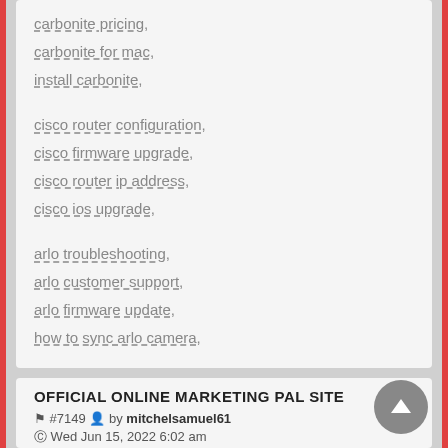carbonite pricing,
carbonite for mac,
install carbonite,
cisco router configuration,
cisco firmware upgrade,
cisco router ip address,
cisco ios upgrade,
arlo troubleshooting,
arlo customer support,
arlo firmware update,
how to sync arlo camera,
OFFICIAL ONLINE MARKETING PAL SITE
#7149 by mitchelsamuel61
Wed Jun 15, 2022 6:02 am
professional seo services
seo consulting service